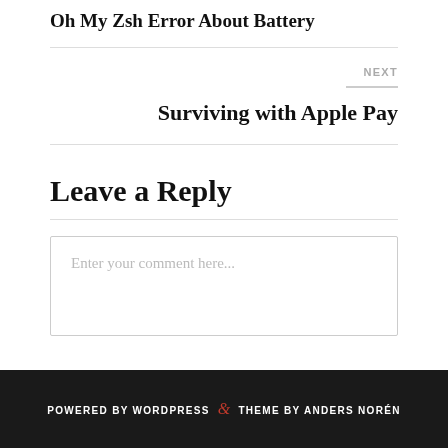Oh My Zsh Error About Battery
NEXT
Surviving with Apple Pay
Leave a Reply
Enter your comment here...
POWERED BY WORDPRESS & THEME BY ANDERS NORÉN